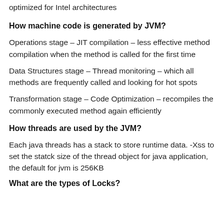optimized for Intel architectures
How machine code is generated by JVM?
Operations stage – JIT compilation – less effective method compilation when the method is called for the first time
Data Structures stage – Thread monitoring – which all methods are frequently called and looking for hot spots
Transformation stage – Code Optimization – recompiles the commonly executed method again efficiently
How threads are used by the JVM?
Each java threads has a stack to store runtime data. -Xss to set the statck size of the thread object for java application, the default for jvm is 256KB
What are the types of Locks?